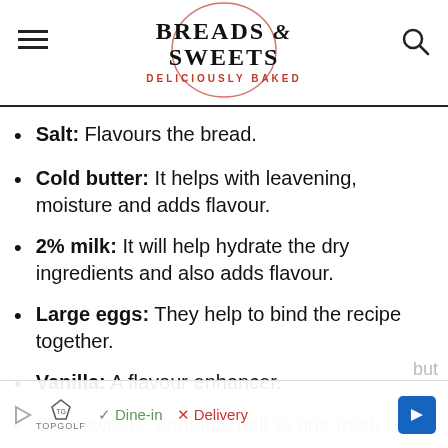BREADS & SWEETS DELICIOUSLY BAKED
Salt: Flavours the bread.
Cold butter: It helps with leavening, moisture and adds flavour.
2% milk: It will help hydrate the dry ingredients and also adds flavour.
Large eggs: They help to bind the recipe together.
Vanilla: A flavour enhancer.
Bittersweet... but (partially visible, cut off by ad)